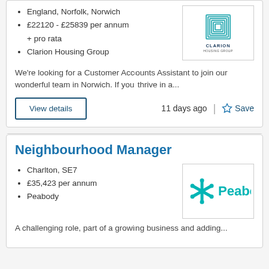England, Norfolk, Norwich
£22120 - £25839 per annum + pro rata
Clarion Housing Group
[Figure (logo): Clarion Housing Group logo — teal cube icon with CLARION HOUSING GROUP text]
We're looking for a Customer Accounts Assistant to join our wonderful team in Norwich. If you thrive in a...
View details   11 days ago   Save
Neighbourhood Manager
Charlton, SE7
£35,423 per annum
Peabody
[Figure (logo): Peabody logo — teal snowflake/asterisk icon with Peabody text in teal]
A challenging role, part of a growing business and adding...